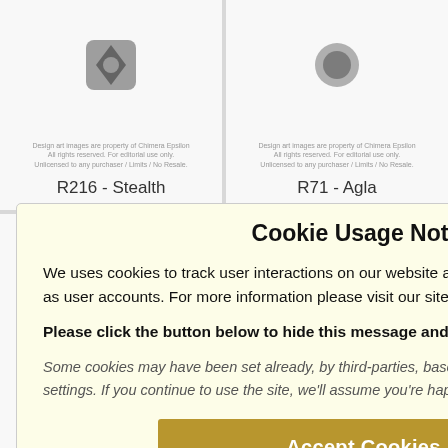R216 - Stealth
R71 - Agla
Cookie Usage Notice
We uses cookies to track user interactions on our website and to provide other key features such as user accounts. For more information please visit our site's privacy policy page.
Please click the button below to hide this message and accept our cookies.
Some cookies may have been set already, by third-parties, based on your web browser's privacy settings. If you continue to use the site, we'll assume you're happy to accept cookies.
Accept Cookies ✓
- Blacksoul